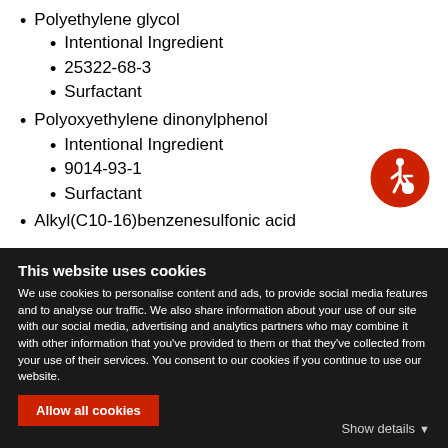Polyethylene glycol
Intentional Ingredient
25322-68-3
Surfactant
Polyoxyethylene dinonylphenol
Intentional Ingredient
9014-93-1
Surfactant
Alkyl(C10-16)benzenesulfonic acid
[Figure (illustration): Accessibility icon — wheelchair user symbol in red circle]
This website uses cookies
We use cookies to personalise content and ads, to provide social media features and to analyse our traffic. We also share information about your use of our site with our social media, advertising and analytics partners who may combine it with other information that you've provided to them or that they've collected from your use of their services. You consent to our cookies if you continue to use our website.
Allow all cookies
Show details